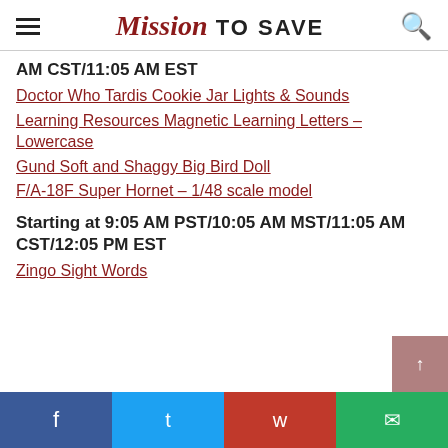Mission TO SAVE
AM CST/11:05 AM EST
Doctor Who Tardis Cookie Jar Lights & Sounds
Learning Resources Magnetic Learning Letters – Lowercase
Gund Soft and Shaggy Big Bird Doll
F/A-18F Super Hornet – 1/48 scale model
Starting at 9:05 AM PST/10:05 AM MST/11:05 AM CST/12:05 PM EST
Zingo Sight Words